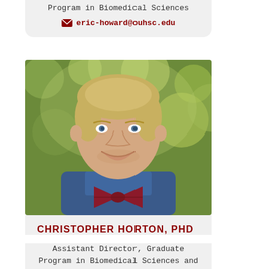Program in Biomedical Sciences
eric-howard@ouhsc.edu
[Figure (photo): Headshot of Christopher Horton, PhD — a young man with short blonde hair, wearing a blue plaid shirt and a dark red/maroon bow tie, smiling outdoors with blurred green foliage background.]
CHRISTOPHER HORTON, PHD
Assistant Director, Graduate Program in Biomedical Sciences and